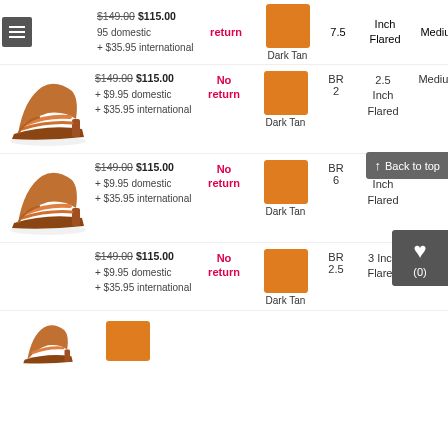$149.00 $115.00 + $9.95 domestic + $35.95 international
No return | Dark Tan | 7.5 | 2.5 Inch Flared | Medium | Satin
[Figure (photo): Dance shoe product photo - copper/bronze satin heeled sandal]
$149.00 $115.00 + $9.95 domestic + $35.95 international
No return | Dark Tan | BR 2 | 2.5 Inch Flared | Medium | Satin
[Figure (photo): Dance shoe product photo - copper/bronze satin heeled sandal]
$149.00 $115.00 + $9.95 domestic + $35.95 international
No return | Dark Tan | BR 6 | 2.5 Inch Flared | Medium | Satin
[Figure (photo): Dance shoe product photo - copper/bronze satin heeled sandal]
$149.00 $115.00 + $9.95 domestic + $35.95 international
No return | Dark Tan | BR 2.5 | 3 Inch Flared | Medium | Satin
[Figure (photo): Dance shoe product photo - copper/bronze satin heeled sandal (partial, bottom of page)]